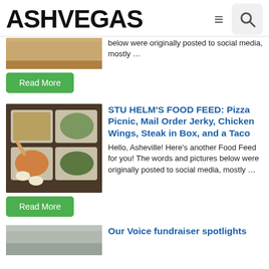ASHVEGAS
[Figure (photo): Partial food/wood texture image cropped at top]
below were originally posted to social media, mostly …
Read More
[Figure (photo): Takeout food in foil containers — chicken wings, rice, salad, sauces on dark table]
STU HELM'S FOOD FEED: Pizza Picnic, Mail Order Jerky, Chicken Wings, Steak in Box, and a Taco
Hello, Asheville! Here's another Food Feed for you! The words and pictures below were originally posted to social media, mostly …
Read More
[Figure (photo): Partial image at bottom of page]
Our Voice fundraiser spotlights